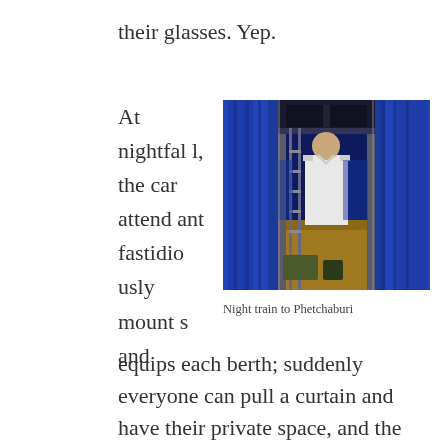their glasses. Yep.
At nightfall, the car attendant fastidiously mounts and equips each berth; suddenly everyone can pull a curtain and have their private space, and the car undergoes a radical transformation. They turn on the A/C generously and, after putting on
[Figure (photo): Interior of a night train sleeping car with blue curtains on both sides of a narrow aisle, a train attendant in white uniform visible in the center, bunk beds with blue curtains pulled.]
Night train to Phetchaburi